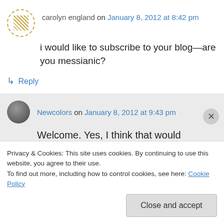carolyn england on January 8, 2012 at 8:42 pm
i would like to subscribe to your blog—are you messianic?
↳ Reply
Newcolors on January 8, 2012 at 9:43 pm
Welcome. Yes, I think that would describe me well. I believe that Yoshua is the
Privacy & Cookies: This site uses cookies. By continuing to use this website, you agree to their use.
To find out more, including how to control cookies, see here: Cookie Policy